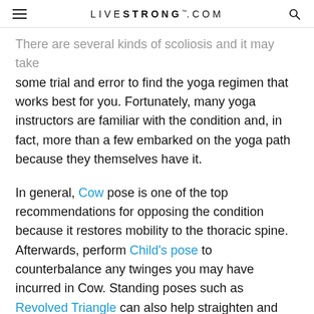LIVESTRONG.COM
There are several kinds of scoliosis and it may take some trial and error to find the yoga regimen that works best for you. Fortunately, many yoga instructors are familiar with the condition and, in fact, more than a few embarked on the yoga path because they themselves have it.
In general, Cow pose is one of the top recommendations for opposing the condition because it restores mobility to the thoracic spine. Afterwards, perform Child's pose to counterbalance any twinges you may have incurred in Cow. Standing poses such as Revolved Triangle can also help straighten and elongate spinal muscles.